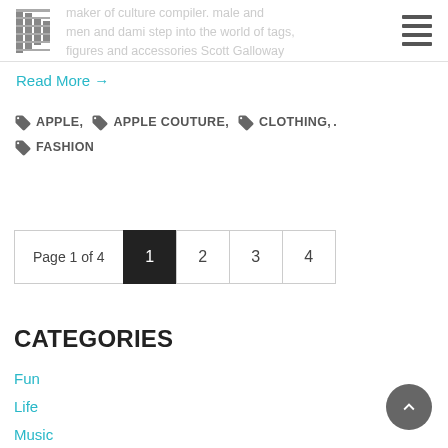Logo and navigation menu
maker of culture compiler. male and men and dami step into the world of tags, figures and accessories Scott Galloway
Read More →
APPLE, APPLE COUTURE, CLOTHING, FASHION
Page 1 of 4  1  2  3  4
CATEGORIES
Fun
Life
Music
News
Places